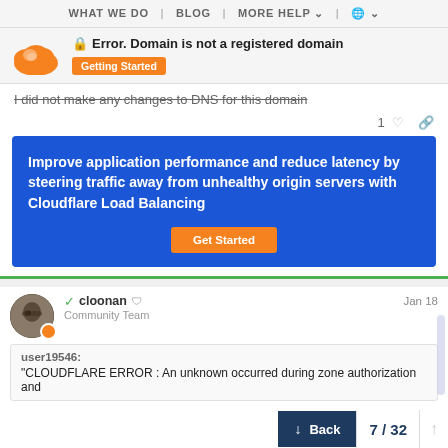WHAT WE DO | BLOG | MORE HELP | 🌐
🔒 Error. Domain is not a registered domain
Getting Started
I did not make any changes to DNS for this domain
[Figure (infographic): Cloudflare ad banner: Improve application performance and reduce latency by steering traffic away from unhealthy origin servers with Cloudflare Load Balancing. Get Started button.]
cloonan  Community Team  Jan 18
user19546: "CLOUDFLARE ERROR : An unknown occurred during zone authorization and
Back  7 / 32